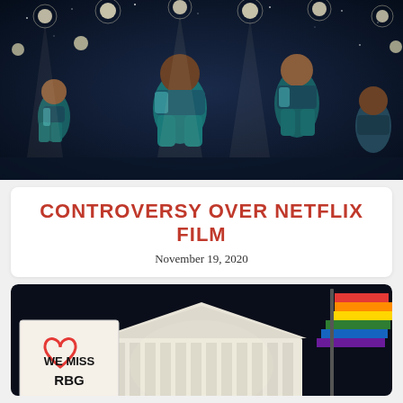[Figure (photo): Movie promotional image showing young girls in teal dance costumes on a starry stage background — Cuties (Mignonnes) Netflix film promotional poster]
CONTROVERSY OVER NETFLIX FILM
November 19, 2020
[Figure (photo): Night photo of protesters outside the US Supreme Court. A sign reads 'WE MISS RBG' with a heart outline, a female symbol, and a Star of David. A rainbow pride flag is visible on the right.]